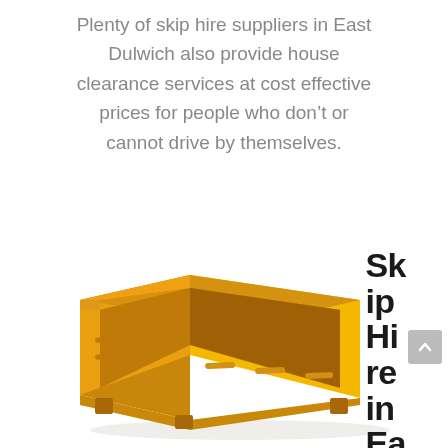Plenty of skip hire suppliers in East Dulwich also provide house clearance services at cost effective prices for people who don't or cannot drive by themselves.
[Figure (photo): A yellow metal skip/dumpster container shown in 3D perspective on a white background.]
Skip Hire in East